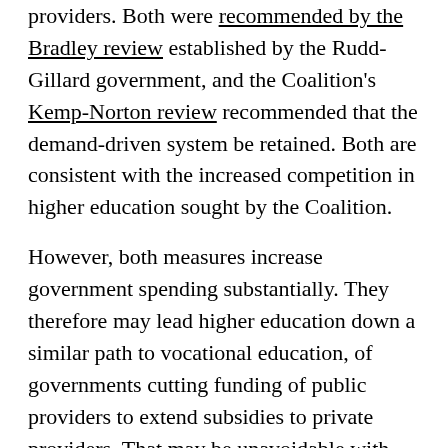providers. Both were recommended by the Bradley review established by the Rudd-Gillard government, and the Coalition's Kemp-Norton review recommended that the demand-driven system be retained. Both are consistent with the increased competition in higher education sought by the Coalition.
However, both measures increase government spending substantially. They therefore may lead higher education down a similar path to vocational education, of governments cutting funding of public providers to extend subsidies to private providers. That may be unavoidable with Labor and the Coalition's current bipartisan support of markets as the main mechanism for providing public services.
Where the government went wrong